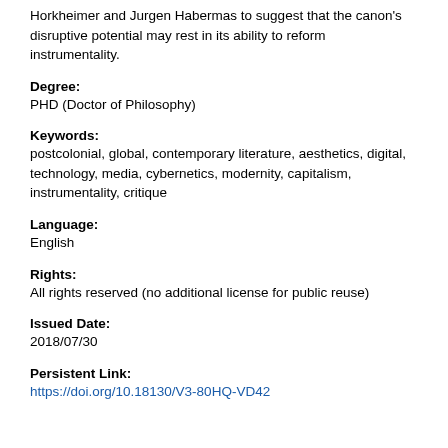Horkheimer and Jurgen Habermas to suggest that the canon's disruptive potential may rest in its ability to reform instrumentality.
Degree:
PHD (Doctor of Philosophy)
Keywords:
postcolonial, global, contemporary literature, aesthetics, digital, technology, media, cybernetics, modernity, capitalism, instrumentality, critique
Language:
English
Rights:
All rights reserved (no additional license for public reuse)
Issued Date:
2018/07/30
Persistent Link:
https://doi.org/10.18130/V3-80HQ-VD42